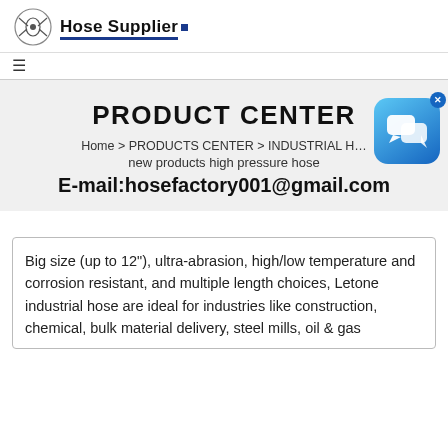Hose Supplier
PRODUCT CENTER
Home > PRODUCTS CENTER > INDUSTRIAL H… new products high pressure hose
E-mail:hosefactory001@gmail.com
Big size (up to 12"), ultra-abrasion, high/low temperature and corrosion resistant, and multiple length choices, Letone industrial hose are ideal for industries like construction, chemical, bulk material delivery, steel mills, oil & gas